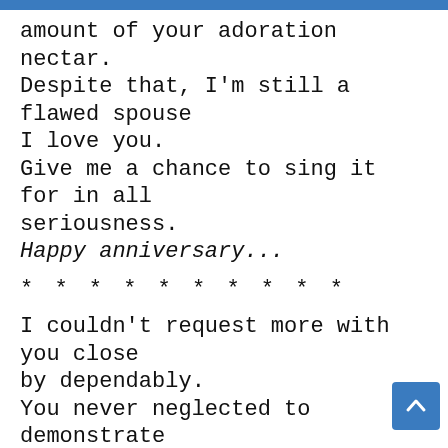amount of your adoration nectar. Despite that, I'm still a flawed spouse I love you. Give me a chance to sing it for in all seriousness. Happy anniversary...
* * * * * * * * * *
I couldn't request more with you close by dependably. You never neglected to demonstrate your love for me, certainly or the different way. I simply need to demonstrate to you the amount I cherish you. Furthermore, walk more prominent miles with you.